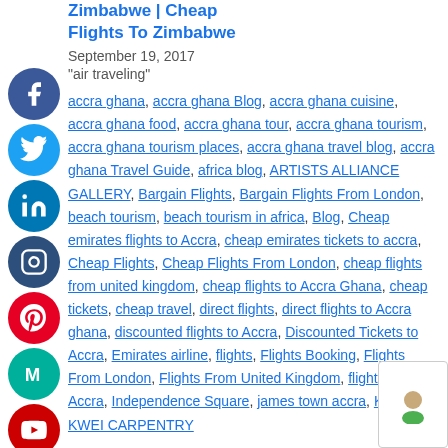Zimbabwe | Cheap Flights To Zimbabwe
September 19, 2017
"air traveling"
accra ghana, accra ghana Blog, accra ghana cuisine, accra ghana food, accra ghana tour, accra ghana tourism, accra ghana tourism places, accra ghana travel blog, accra ghana Travel Guide, africa blog, ARTISTS ALLIANCE GALLERY, Bargain Flights, Bargain Flights From London, beach tourism, beach tourism in africa, Blog, Cheap emirates flights to Accra, cheap emirates tickets to accra, Cheap Flights, Cheap Flights From London, cheap flights from united kingdom, cheap flights to Accra Ghana, cheap tickets, cheap travel, direct flights, direct flights to Accra ghana, discounted flights to Accra, Discounted Tickets to Accra, Emirates airline, flights, Flights Booking, Flights From London, Flights From United Kingdom, flights to Accra, Independence Square, james town accra, KANE KWEI CARPENTRY